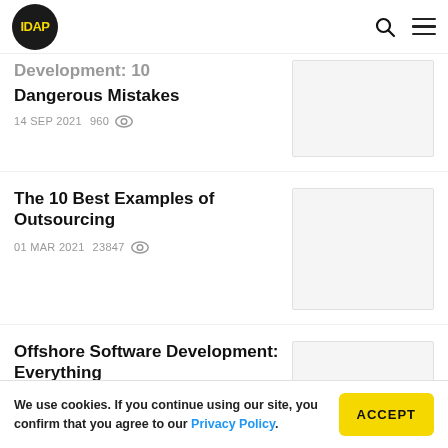IDAP logo, search icon, menu icon
Development: 10 Dangerous Mistakes
14 SEP 2021   960 views
The 10 Best Examples of Outsourcing
01 MAR 2021   23847 views
Offshore Software Development: Everything
We use cookies. If you continue using our site, you confirm that you agree to our Privacy Policy.